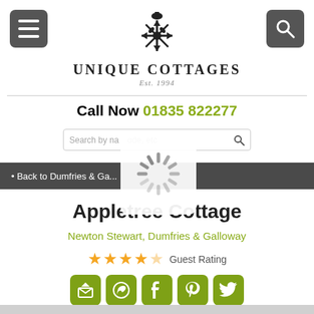[Figure (logo): Unique Cottages logo with thistle emblem, text 'UNIQUE COTTAGES' and 'Est. 1994']
Call Now 01835 822277
Search by name, postcode, etc
Back to Dumfries & Ga...
Appletree Cottage
Newton Stewart, Dumfries & Galloway
★★★★☆ Guest Rating
[Figure (infographic): Five social sharing buttons: email/house, WhatsApp, Facebook, Pinterest, Twitter — all in olive green rounded square icons]